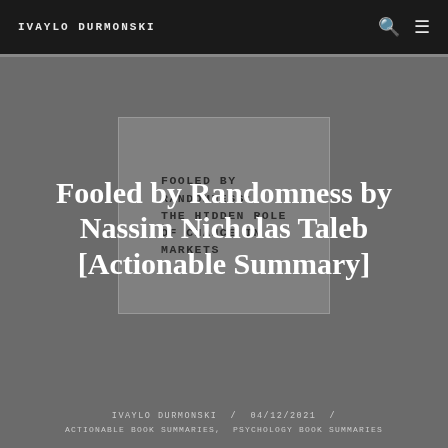IVAYLO DURMONSKI
[Figure (illustration): Book cover of 'Fooled by Randomness: The Hidden Role of Chance in Markets and in Life' by Nassim Nicholas Taleb, shown as a dark grey rectangle with bold uppercase text listing the book title and subtitle]
Fooled by Randomness by Nassim Nicholas Taleb [Actionable Summary]
IVAYLO DURMONSKI / 04/12/2021 / ACTIONABLE BOOK SUMMARIES, PSYCHOLOGY BOOK SUMMARIES